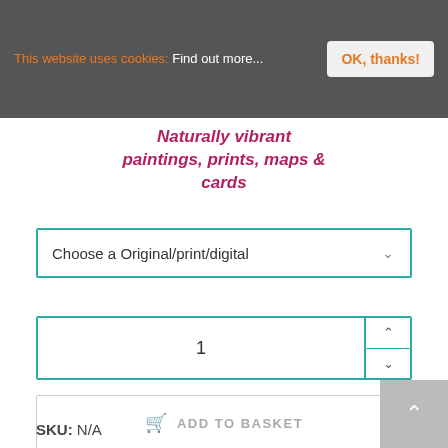This website uses cookies: Find out more...
OK, thanks!
Naturally vibrant paintings, prints, maps & cards
Choose a Original/print/digital
1
ADD TO BASKET
SKU: N/A